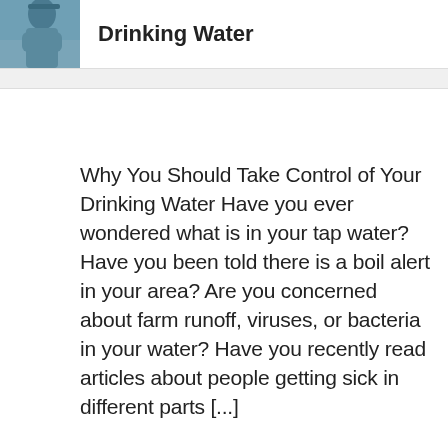[Figure (photo): Partial photo of a person (top of head visible) with a blue background, serving as a thumbnail for an article about Drinking Water]
Drinking Water
Why You Should Take Control of Your Drinking Water Have you ever wondered what is in your tap water? Have you been told there is a boil alert in your area? Are you concerned about farm runoff, viruses, or bacteria in your water? Have you recently read articles about people getting sick in different parts [...]